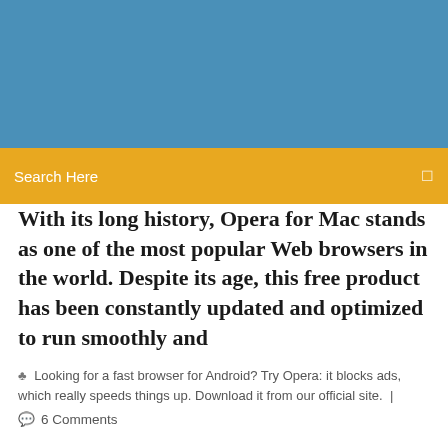[Figure (other): Blue header banner background]
Search Here
With its long history, Opera for Mac stands as one of the most popular Web browsers in the world. Despite its age, this free product has been constantly updated and optimized to run smoothly and
Looking for a fast browser for Android? Try Opera: it blocks ads, which really speeds things up. Download it from our official site.  |
6 Comments